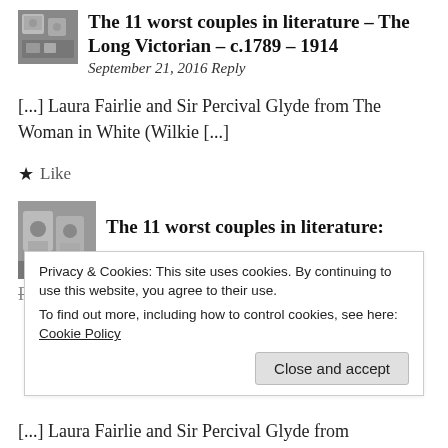[Figure (photo): Small thumbnail image of a couple from literature, black and white]
The 11 worst couples in literature – The Long Victorian – c.1789 – 1914
September 21, 2016 Reply
[...] Laura Fairlie and Sir Percival Glyde from The Woman in White (Wilkie [...]
★ Like
[Figure (photo): Small thumbnail image of a couple, black and white vintage photo]
The 11 worst couples in literature:
Rosamond Vincy & Dr Lydgate from
Privacy & Cookies: This site uses cookies. By continuing to use this website, you agree to their use.
To find out more, including how to control cookies, see here:
Cookie Policy
Close and accept
[...] Laura Fairlie and Sir Percival Glyde from